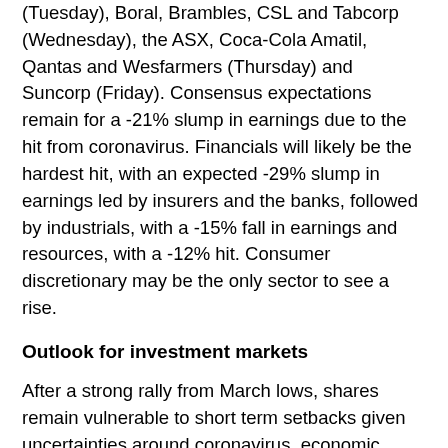(Tuesday), Boral, Brambles, CSL and Tabcorp (Wednesday), the ASX, Coca-Cola Amatil, Qantas and Wesfarmers (Thursday) and Suncorp (Friday). Consensus expectations remain for a -21% slump in earnings due to the hit from coronavirus. Financials will likely be the hardest hit, with an expected -29% slump in earnings led by insurers and the banks, followed by industrials, with a -15% fall in earnings and resources, with a -12% hit. Consumer discretionary may be the only sector to see a rise.
Outlook for investment markets
After a strong rally from March lows, shares remain vulnerable to short term setbacks given uncertainties around coronavirus, economic recovery and US/China tensions. But on a 6 to 12-month horizon, shares are expected to see good total returns, helped by a pick-up in economic activity and policy stimulus.